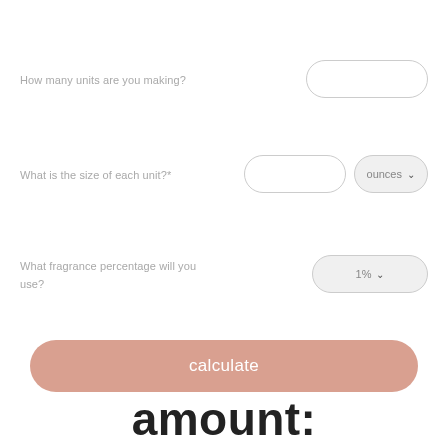How many units are you making?
[Figure (screenshot): Empty rounded rectangle input field for number of units]
What is the size of each unit?*
[Figure (screenshot): Empty rounded rectangle input field for size, and a dropdown showing 'ounces' with chevron]
What fragrance percentage will you use?
[Figure (screenshot): Dropdown showing '1%' with chevron for fragrance percentage]
calculate
amount: